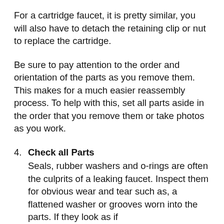For a cartridge faucet, it is pretty similar, you will also have to detach the retaining clip or nut to replace the cartridge.
Be sure to pay attention to the order and orientation of the parts as you remove them. This makes for a much easier reassembly process. To help with this, set all parts aside in the order that you remove them or take photos as you work.
4. Check all Parts
Seals, rubber washers and o-rings are often the culprits of a leaking faucet. Inspect them for obvious wear and tear such as, a flattened washer or grooves worn into the parts. If they look as if...